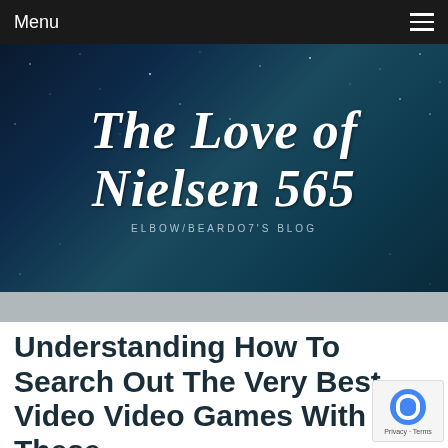Menu
[Figure (screenshot): Blog header banner with dark starry night sky background. Large cursive white text reads 'The Love of Nielsen 565' with subtitle 'ELBOW/BEARDO7'S BLOG']
Understanding How To Search Out The Very Best Video Video Games With These